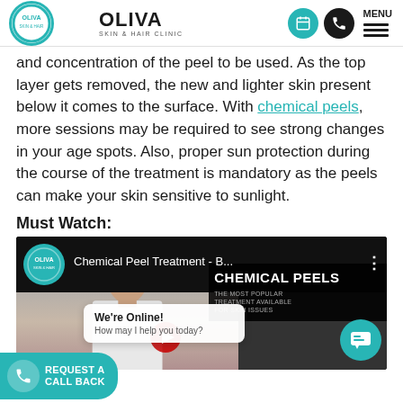OLIVA SKIN & HAIR CLINIC
and concentration of the peel to be used. As the top layer gets removed, the new and lighter skin present below it comes to the surface. With chemical peels, more sessions may be required to see strong changes in your age spots. Also, proper sun protection during the course of the treatment is mandatory as the peels can make your skin sensitive to sunlight.
Must Watch:
[Figure (screenshot): YouTube video thumbnail showing a woman in a white coat, with overlay text 'Chemical Peel Treatment - B...' and OLIVA logo. Right side shows 'CHEMICAL PEELS - THE MOST POPULAR TREATMENT AVAILABLE FOR SKIN ISSUES'. A chat popup reads 'We're Online! How may I help you today?' A teal call-back button at bottom left reads 'REQUEST A CALL BACK'.]